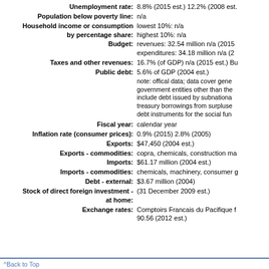Unemployment rate: 8.8% (2015 est.) 12.2% (2008 est.)
Population below poverty line: n/a
Household income or consumption by percentage share: lowest 10%: n/a highest 10%: n/a
Budget: revenues: 32.54 million n/a (2015); expenditures: 34.18 million n/a (2015)
Taxes and other revenues: 16.7% (of GDP) n/a (2015 est.) Budget...
Public debt: 5.6% of GDP (2004 est.)
note: offical data; data cover general government entities other than the central government; include debt issued by subnational entities, as well as treasury borrowings from surpluses in the social funds, debt instruments for the social fund
Fiscal year: calendar year
Inflation rate (consumer prices): 0.9% (2015) 2.8% (2005)
Exports: $47,450 (2004 est.)
Exports - commodities: copra, chemicals, construction materials...
Imports: $61.17 million (2004 est.)
Imports - commodities: chemicals, machinery, consumer goods...
Debt - external: $3.67 million (2004)
Stock of direct foreign investment - at home: (31 December 2009 est.)
Exchange rates: Comptoirs Francais du Pacifique francs (XPF) per US dollar - 90.56 (2012 est.)
^Back to Top